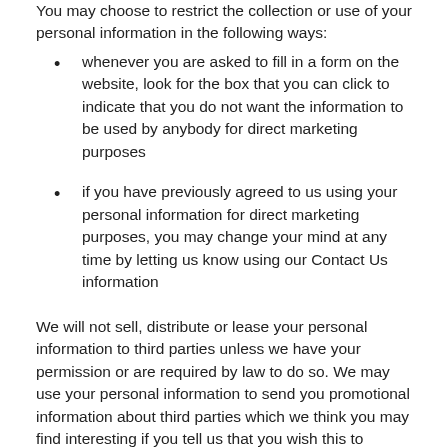You may choose to restrict the collection or use of your personal information in the following ways:
whenever you are asked to fill in a form on the website, look for the box that you can click to indicate that you do not want the information to be used by anybody for direct marketing purposes
if you have previously agreed to us using your personal information for direct marketing purposes, you may change your mind at any time by letting us know using our Contact Us information
We will not sell, distribute or lease your personal information to third parties unless we have your permission or are required by law to do so. We may use your personal information to send you promotional information about third parties which we think you may find interesting if you tell us that you wish this to happen.
You may request details of personal information which we hold about you under the Data Protection Act 1998. A small fee will be payable. If you would like a copy of the information held on you please email us this request using our Contact Us